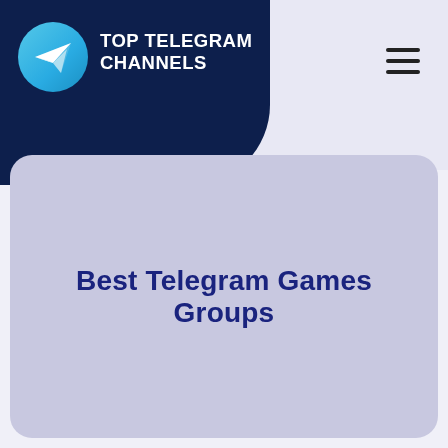[Figure (logo): Top Telegram Channels logo: dark navy background blob with Telegram paper plane icon in a blue circle and white bold uppercase text 'TOP TELEGRAM CHANNELS']
Best Telegram Games Groups